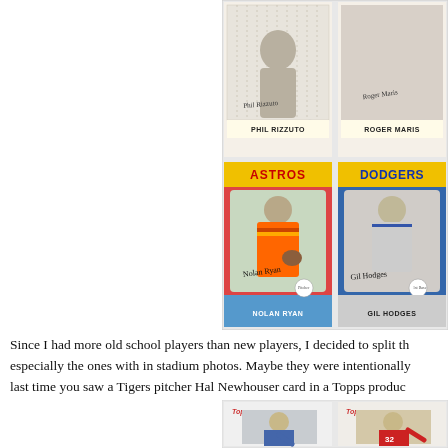[Figure (photo): Four vintage baseball cards arranged in a 2x2 grid. Top row: Phil Rizzuto (Yankees pinstripe uniform) and Roger Maris. Bottom row: Nolan Ryan (Astros, colorful uniform with signature) and Gil Hodges (Dodgers). The Astros card has a red and yellow banner, Dodgers card has a similar banner. All cards have player signatures.]
Since I had more old school players than new players, I decided to split th especially the ones with in stadium photos. Maybe they were intentionally last time you saw a Tigers pitcher Hal Newhouser card in a Topps produc
[Figure (photo): Two modern Topps baseball cards partially visible. Left card shows a Dodgers pitcher in blue uniform. Right card shows player #32 in a Phillies uniform pitching. Both cards have the Topps logo in the upper left corner.]